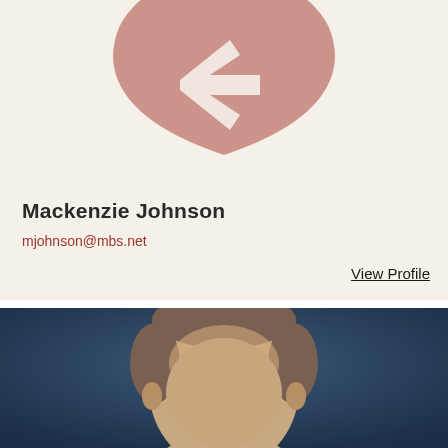[Figure (logo): Partial view of a stylized logo with a reddish-brown/mauve shield or crest shape with an arrow or bird motif on a cream/beige background]
Mackenzie Johnson
mjohnson@mbs.net
View Profile
[Figure (photo): Portrait photo of a middle-aged man with brown/grey hair, on a dark blue blurred background, showing head and top of shoulders]